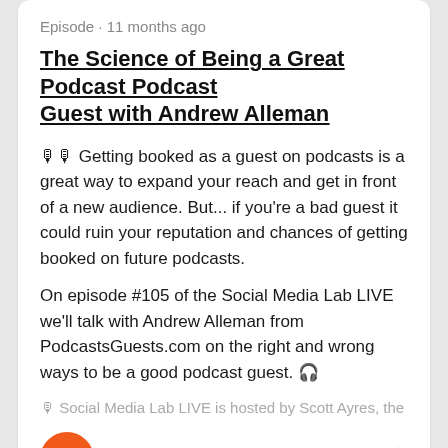Episode · 11 months ago
The Science of Being a Great Podcast Guest with Andrew Alleman
🎙 Getting booked as a guest on podcasts is a great way to expand your reach and get in front of a new audience. But... if you're a bad guest it could ruin your reputation and chances of getting booked on future podcasts.
On episode #105 of the Social Media Lab LIVE we'll talk with Andrew Alleman from PodcastsGuests.com on the right and wrong ways to be a good podcast guest. 🎧
🎙 Social Media Lab LIVE is hosted by Scott Ayres, the
LISTEN NOW
Episode · 1 year ago